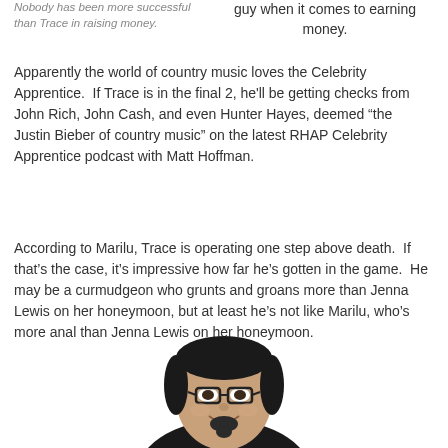Nobody has been more successful than Trace in raising money.
guy when it comes to earning money.
Apparently the world of country music loves the Celebrity Apprentice.  If Trace is in the final 2, he'll be getting checks from John Rich, John Cash, and even Hunter Hayes, deemed “the Justin Bieber of country music” on the latest RHAP Celebrity Apprentice podcast with Matt Hoffman.
According to Marilu, Trace is operating one step above death.  If that’s the case, it’s impressive how far he’s gotten in the game.  He may be a curmudgeon who grunts and groans more than Jenna Lewis on her honeymoon, but at least he’s not like Marilu, who’s more anal than Jenna Lewis on her honeymoon.
[Figure (photo): Photo of a large man with glasses, dark hair, goatee, smiling, wearing a dark shirt, cropped at shoulders/chest.]